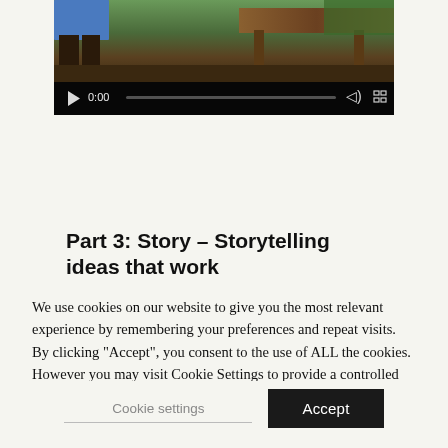[Figure (screenshot): Video player screenshot showing a person in blue shorts near wooden furniture outdoors. Controls show 0:00 timestamp, play button, volume icon, and fullscreen icon with a progress bar.]
Part 3: Story – Storytelling ideas that work
We use cookies on our website to give you the most relevant experience by remembering your preferences and repeat visits. By clicking "Accept", you consent to the use of ALL the cookies. However you may visit Cookie Settings to provide a controlled consent.
Cookie settings
Accept